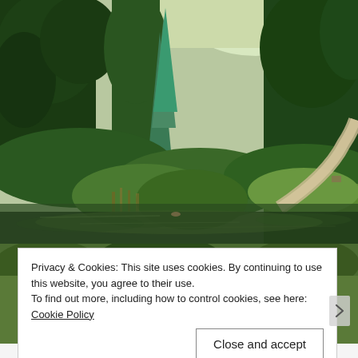[Figure (photo): Lush green botanical garden with tall trees, a winding path, pond with reflections. Sunlit summer scene with diverse foliage and a small blue-green conifer in the center.]
[Figure (photo): Partial view of a second garden photo below the main image, partially obscured by the cookie consent banner.]
Privacy & Cookies: This site uses cookies. By continuing to use this website, you agree to their use.
To find out more, including how to control cookies, see here: Cookie Policy
Close and accept
NAVIGATE THIS ...